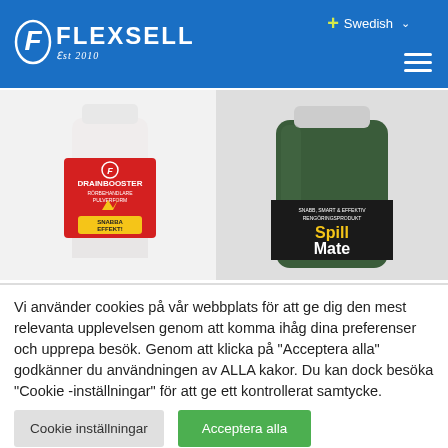[Figure (logo): Flexsell logo with stylized F icon and 'Est 2010' tagline on blue header bar]
Swedish
[Figure (photo): Two product bottles: left is a white pill bottle with red label reading 'DRAINBOOSTER' with lightning bolt graphic; right is a dark green liquid bottle labeled 'SpillMate']
Vi använder cookies på vår webbplats för att ge dig den mest relevanta upplevelsen genom att komma ihåg dina preferenser och upprepa besök. Genom att klicka på "Acceptera alla" godkänner du användningen av ALLA kakor. Du kan dock besöka "Cookie -inställningar" för att ge ett kontrollerat samtycke.
Cookie inställningar
Acceptera alla